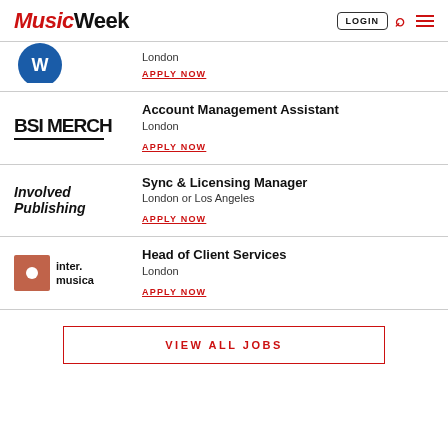Music Week — LOGIN
London
APPLY NOW
Account Management Assistant
London
APPLY NOW
Sync & Licensing Manager
London or Los Angeles
APPLY NOW
Head of Client Services
London
APPLY NOW
VIEW ALL JOBS